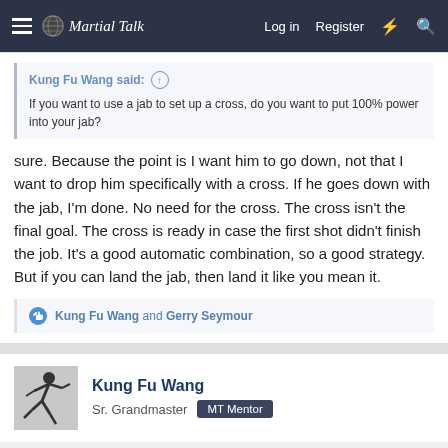Martial Talk — Log in | Register
Kung Fu Wang said: ↑
If you want to use a jab to set up a cross, do you want to put 100% power into your jab?
sure. Because the point is I want him to go down, not that I want to drop him specifically with a cross. If he goes down with the jab, I'm done. No need for the cross. The cross isn't the final goal. The cross is ready in case the first shot didn't finish the job. It's a good automatic combination, so a good strategy. But if you can land the jab, then land it like you mean it.
👍 Kung Fu Wang and Gerry Seymour
Kung Fu Wang
Sr. Grandmaster   MT Mentor